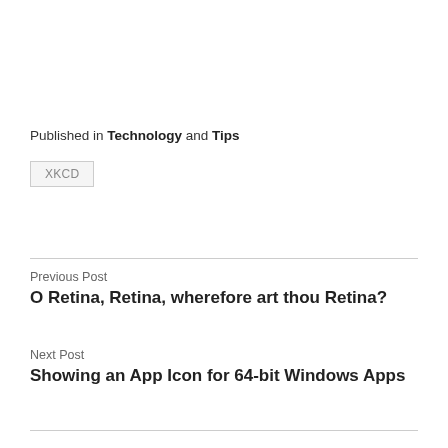Published in Technology and Tips
XKCD
Previous Post
O Retina, Retina, wherefore art thou Retina?
Next Post
Showing an App Icon for 64-bit Windows Apps